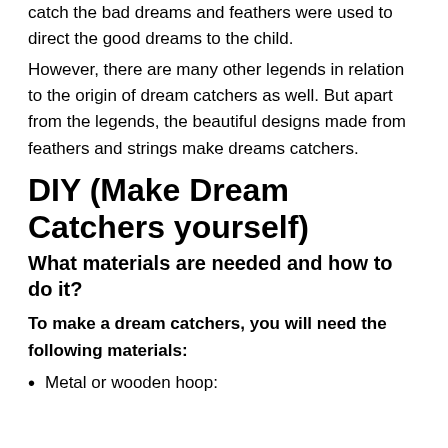catch the bad dreams and feathers were used to direct the good dreams to the child.
However, there are many other legends in relation to the origin of dream catchers as well. But apart from the legends, the beautiful designs made from feathers and strings make dreams catchers.
DIY (Make Dream Catchers yourself)
What materials are needed and how to do it?
To make a dream catchers, you will need the following materials:
Metal or wooden hoop: